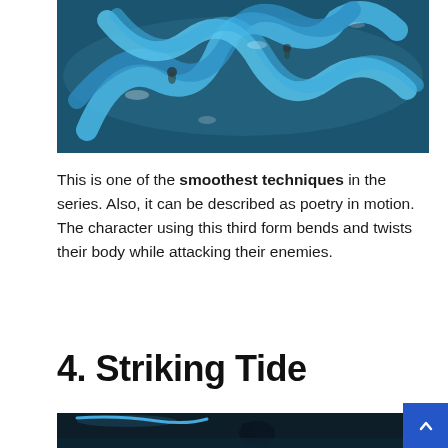[Figure (photo): Aerial or overhead view of performers in blue costume fins/tails in water, resembling a snake or dragon form, with swirling blue shapes against dark water]
This is one of the smoothest techniques in the series. Also, it can be described as poetry in motion. The character using this third form bends and twists their body while attacking their enemies.
4. Striking Tide
[Figure (photo): Partial image of a character in dark water with blue glowing light, appearing to be in motion]